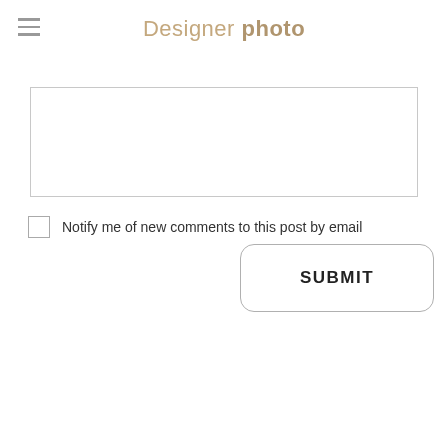Designer photo
[Figure (screenshot): Text area input box, empty, with light gray border]
Notify me of new comments to this post by email
[Figure (screenshot): SUBMIT button with rounded corners and gray border]